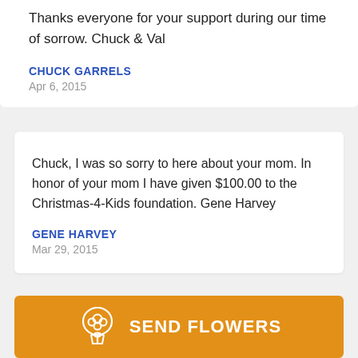Thanks everyone for your support during our time of sorrow. Chuck & Val
CHUCK GARRELS
Apr 6, 2015
Chuck, I was so sorry to here about your mom. In honor of your mom I have given $100.00 to the Christmas-4-Kids foundation. Gene Harvey
GENE HARVEY
Mar 29, 2015
[Figure (other): Orange button with flower bouquet icon and text SEND FLOWERS]